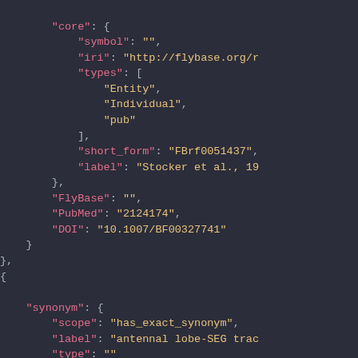JSON code snippet showing core, FlyBase, PubMed, DOI fields and synonym object with scope, label, type fields